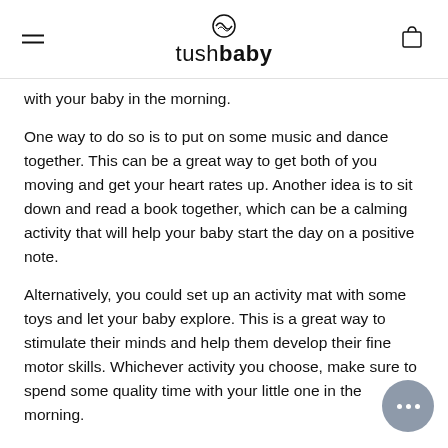tushbaby
with your baby in the morning.
One way to do so is to put on some music and dance together. This can be a great way to get both of you moving and get your heart rates up. Another idea is to sit down and read a book together, which can be a calming activity that will help your baby start the day on a positive note.
Alternatively, you could set up an activity mat with some toys and let your baby explore. This is a great way to stimulate their minds and help them develop their fine motor skills. Whichever activity you choose, make sure to spend some quality time with your little one in the morning.